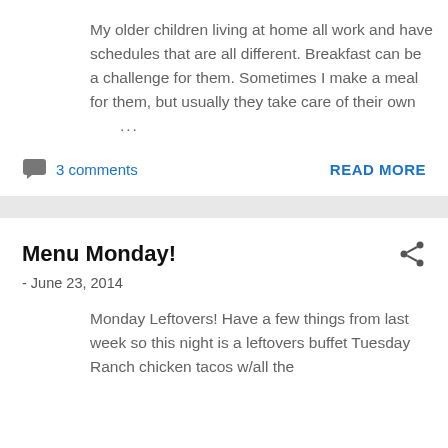My older children living at home all work and have schedules that are all different. Breakfast can be a challenge for them. Sometimes I make a meal for them, but usually they take care of their own ...
3 comments
READ MORE
Menu Monday!
- June 23, 2014
Monday Leftovers! Have a few things from last week so this night is a leftovers buffet Tuesday Ranch chicken tacos w/all the